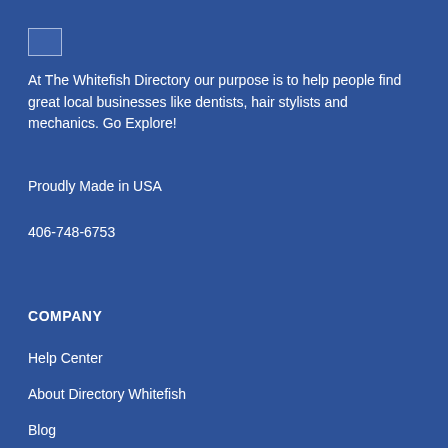[Figure (logo): Small logo image placeholder in top-left corner]
At The Whitefish Directory our purpose is to help people find great local businesses like dentists, hair stylists and mechanics. Go Explore!
Proudly Made in USA
406-748-6753
COMPANY
Help Center
About Directory Whitefish
Blog